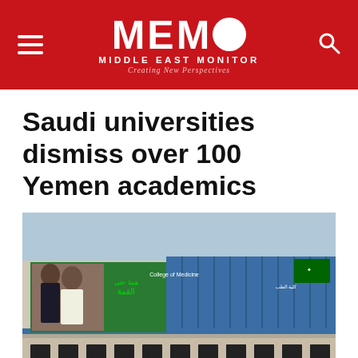MEMO MIDDLE EAST MONITOR — Creating New Perspectives
Saudi universities dismiss over 100 Yemen academics
[Figure (photo): Exterior of a Saudi university building (College of Medicine), with Arabic signage, a green Saudi flag, and a banner featuring Saudi royals. Toyota vehicles parked in front.]